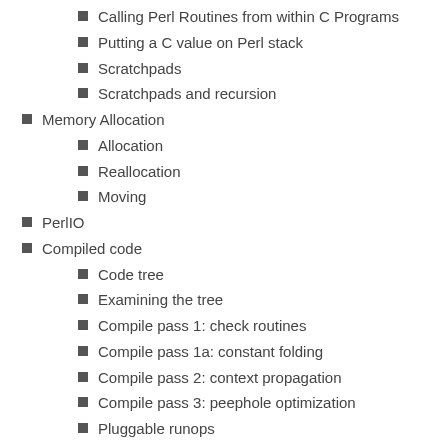Calling Perl Routines from within C Programs
Putting a C value on Perl stack
Scratchpads
Scratchpads and recursion
Memory Allocation
Allocation
Reallocation
Moving
PerlIO
Compiled code
Code tree
Examining the tree
Compile pass 1: check routines
Compile pass 1a: constant folding
Compile pass 2: context propagation
Compile pass 3: peephole optimization
Pluggable runops
Compile-time scope hooks
Examining internal data structures with the dump functions